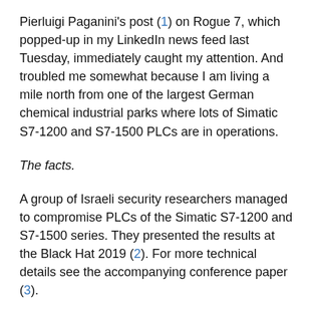Pierluigi Paganini's post (1) on Rogue 7, which popped-up in my LinkedIn news feed last Tuesday, immediately caught my attention. And troubled me somewhat because I am living a mile north from one of the largest German chemical industrial parks where lots of Simatic S7-1200 and S7-1500 PLCs are in operations.
The facts.
A group of Israeli security researchers managed to compromise PLCs of the Simatic S7-1200 and S7-1500 series. They presented the results at the Black Hat 2019 (2). For more technical details see the accompanying conference paper (3).
The SIMATIC developers learned from the past attacks on the S7 protocol, and integrated cryptographic protection in the latest version of the protocol. This includes a key exchange protocol for secure session set-up between the TIA